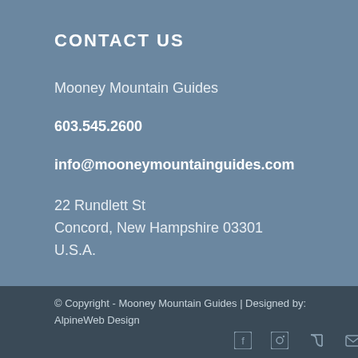CONTACT US
Mooney Mountain Guides
603.545.2600
info@mooneymountainguides.com
22 Rundlett St
Concord, New Hampshire 03301
U.S.A.
© Copyright - Mooney Mountain Guides | Designed by: AlpineWeb Design